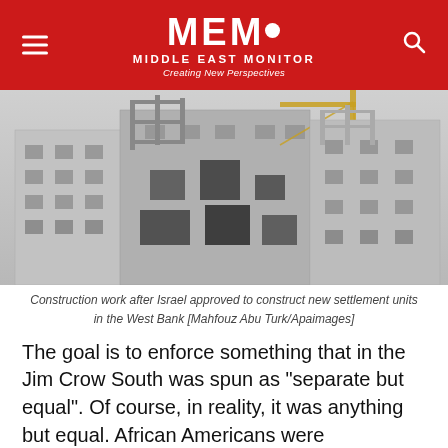MEMO MIDDLE EAST MONITOR — Creating New Perspectives
[Figure (photo): Construction work on a damaged multi-storey building with cranes after Israel approved new settlement units in the West Bank]
Construction work after Israel approved to construct new settlement units in the West Bank [Mahfouz Abu Turk/Apaimages]
The goal is to enforce something that in the Jim Crow South was spun as "separate but equal". Of course, in reality, it was anything but equal. African Americans were systematically kept in the most appalling poverty, in a very similar way to how apartheid